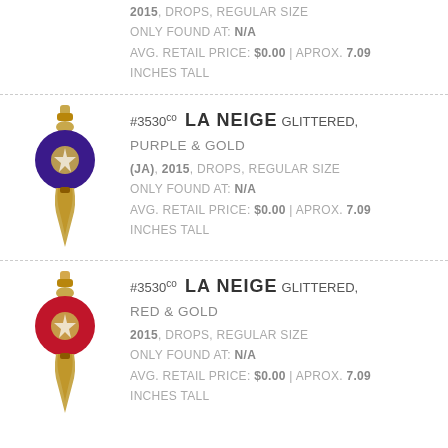2015, DROPS, REGULAR SIZE
ONLY FOUND AT: N/A
AVG. RETAIL PRICE: $0.00 | APROX. 7.09 INCHES TALL
[Figure (illustration): Purple and gold glittered drop ornament]
#3530co LA NEIGE GLITTERED, PURPLE & GOLD (JA), 2015, DROPS, REGULAR SIZE
ONLY FOUND AT: N/A
AVG. RETAIL PRICE: $0.00 | APROX. 7.09 INCHES TALL
[Figure (illustration): Red and gold glittered drop ornament]
#3530co LA NEIGE GLITTERED, RED & GOLD
2015, DROPS, REGULAR SIZE
ONLY FOUND AT: N/A
AVG. RETAIL PRICE: $0.00 | APROX. 7.09 INCHES TALL